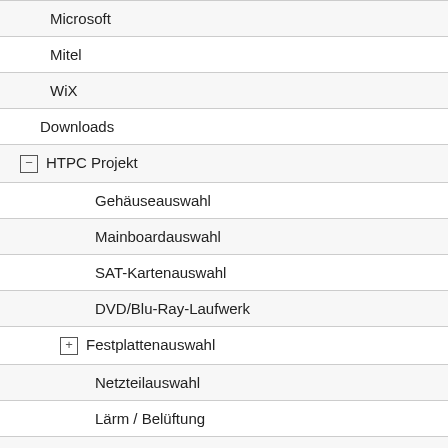Microsoft
Mitel
WiX
Downloads
⊟ HTPC Projekt
Gehäuseauswahl
Mainboardauswahl
SAT-Kartenauswahl
DVD/Blu-Ray-Laufwerk
⊞ Festplattenauswahl
Netzteilauswahl
Lärm / Belüftung
Softwareauswahl
Kostenaufstellung
ShoreTel: FastUserSwitching